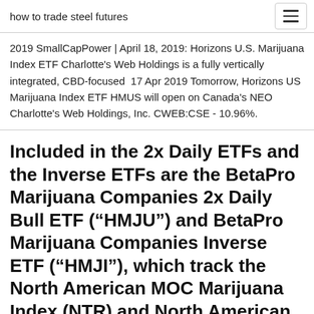how to trade steel futures
2019 SmallCapPower | April 18, 2019: Horizons U.S. Marijuana Index ETF Charlotte's Web Holdings is a fully vertically integrated, CBD-focused  17 Apr 2019 Tomorrow, Horizons US Marijuana Index ETF HMUS will open on Canada's NEO Charlotte's Web Holdings, Inc. CWEB:CSE - 10.96%.
Included in the 2x Daily ETFs and the Inverse ETFs are the BetaPro Marijuana Companies 2x Daily Bull ETF (“HMJU”) and BetaPro Marijuana Companies Inverse ETF (“HMJI”), which track the North American MOC Marijuana Index (NTR) and North American MOC Marijuana